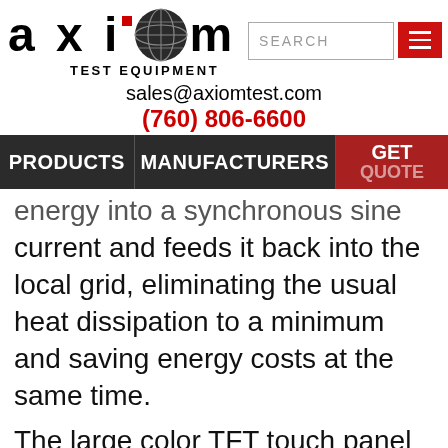[Figure (logo): Axiom Test Equipment logo with stylized globe icon and red dot above 'i', with TEST EQUIPMENT subtitle]
sales@axiomtest.com
(760) 806-6600
PRODUCTS | MANUFACTURERS | GET QUOTE
energy into a synchronous sine current and feeds it back into the local grid, eliminating the usual heat dissipation to a minimum and saving energy costs at the same time.
The large color TFT touch panel on the Elektro Automatik ELR9500-90 offers a different and intuitive